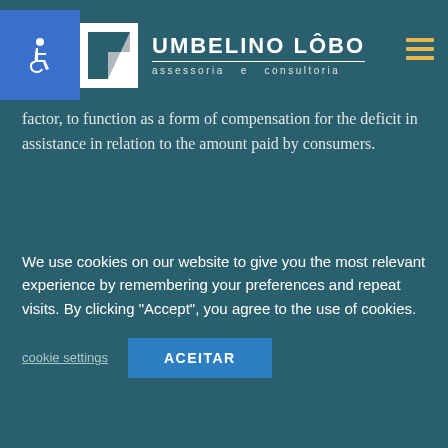emphasis on individual plans, the Agency argues that the outbreak of the pandemic, among other measures such as the postponement of elective surgeries and procedures, or that is, non-emergency, culminated in the negative character of the factor, to function as a form of compensation for the deficit in assistance in relation to the amount paid by consumers.
It is noteworthy that the ANS must define the new adjustment factor for health plans by April, which must be applied between May 2022 and April 2023. In the current context, the definition by CMED of the annual
We use cookies on our website to give you the most relevant experience by remembering your preferences and repeat visits. By clicking "Accept", you agree to the use of cookies.